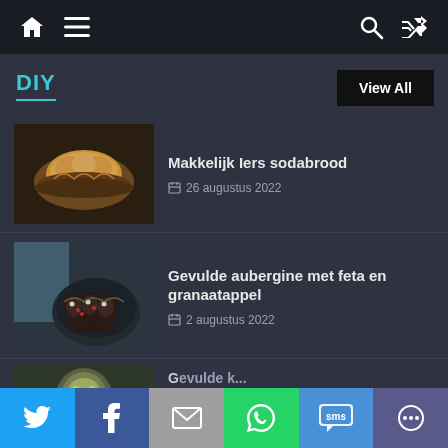Navigation bar with home, menu, search, and shuffle icons
DIY
View All
[Figure (photo): Photo of a rustic Irish soda bread loaf on a dark wooden board]
Makkelijk Iers sodabrood
26 augustus 2022
[Figure (photo): Photo of stuffed aubergine with feta and pomegranate on a dark plate]
Gevulde aubergine met feta en granaatappel
2 augustus 2022
[Figure (photo): Partial photo of a third dish, partially visible at the bottom of the page]
Partially visible article title
Social sharing bar: Twitter, Facebook, Email, WhatsApp, SMS, More